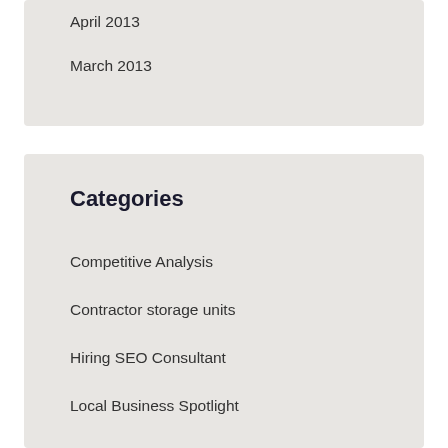April 2013
March 2013
Categories
Competitive Analysis
Contractor storage units
Hiring SEO Consultant
Local Business Spotlight
Local Search Engine Optimization
Self Storage Articles